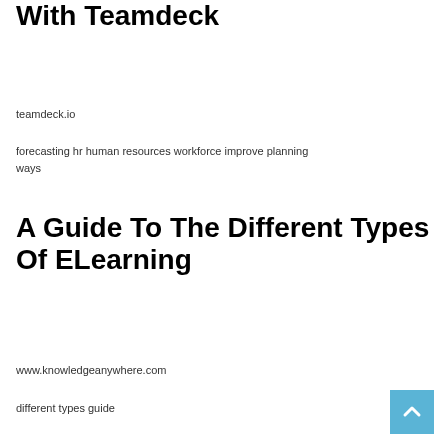With Teamdeck
teamdeck.io
forecasting hr human resources workforce improve planning ways
A Guide To The Different Types Of ELearning
www.knowledgeanywhere.com
different types guide